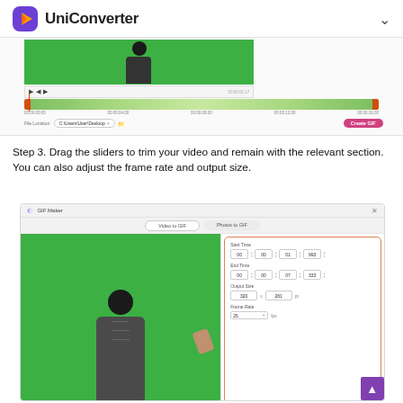UniConverter
[Figure (screenshot): UniConverter GIF Maker interface showing video trimming controls with green screen video preview, timeline slider with orange handles, file location path C:\Users\User\Desktop, and Create GIF button]
Step 3. Drag the sliders to trim your video and remain with the relevant section. You can also adjust the frame rate and output size.
[Figure (screenshot): UniConverter GIF Maker window with Video to GIF and Photos to GIF tabs, green screen video of a woman, and right panel showing Start Time, End Time, Output Size fields and Frame Rate dropdown with orange border highlight]